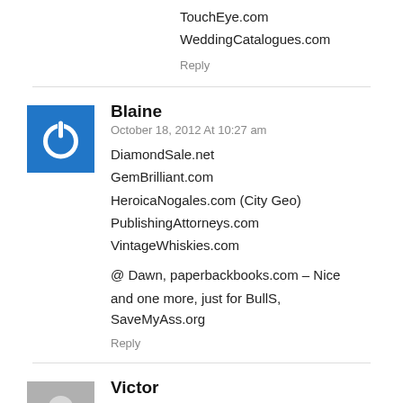TouchEye.com
WeddingCatalogues.com
Reply
Blaine
October 18, 2012 At 10:27 am
DiamondSale.net
GemBrilliant.com
HeroicaNogales.com (City Geo)
PublishingAttorneys.com
VintageWhiskies.com
@ Dawn, paperbackbooks.com – Nice
and one more, just for BullS, SaveMyAss.org
Reply
Victor